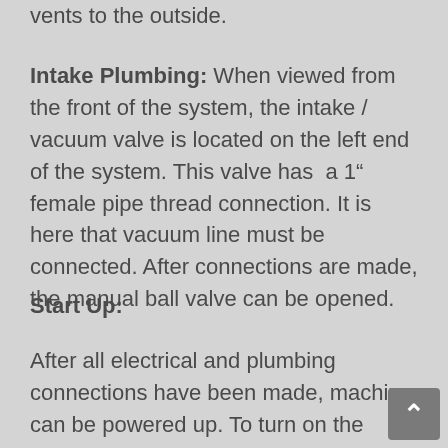vents to the outside.
Intake Plumbing: When viewed from the front of the system, the intake / vacuum valve is located on the left end of the system. This valve has a 1" female pipe thread connection. It is here that vacuum line must be connected. After connections are made, the manual ball valve can be opened.
Start Up:
After all electrical and plumbing connections have been made, machine can be powered up. To turn on the machine, use the 'Main Power' switch, located on the front of the machine. Push in the black colored button